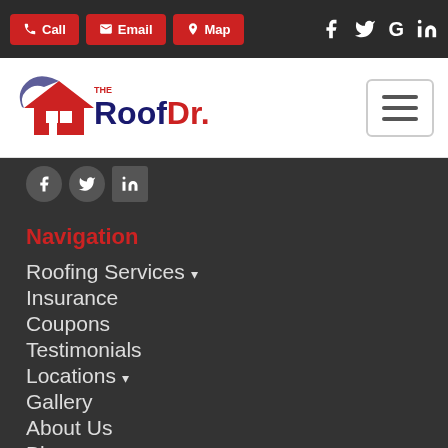Call | Email | Map | Facebook | Twitter | Google | LinkedIn
[Figure (logo): The Roof Dr. logo with house roof icon and hamburger menu button]
[Figure (infographic): Social media icons row: Facebook, Twitter, LinkedIn on dark background]
Navigation
Roofing Services ▾
Insurance
Coupons
Testimonials
Locations ▾
Gallery
About Us
Blog